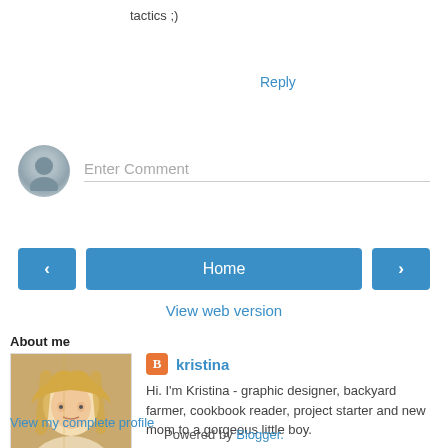tactics ;)
Reply
[Figure (other): Comment input area with generic user avatar and 'Enter Comment' placeholder text]
[Figure (other): Navigation bar with left arrow button, Home button, and right arrow button]
View web version
About me
[Figure (photo): Profile photo of Kristina, a blonde woman]
kristina
Hi. I'm Kristina - graphic designer, backyard farmer, cookbook reader, project starter and new mom to a gorgeous little boy.
View my complete profile
Powered by Blogger.